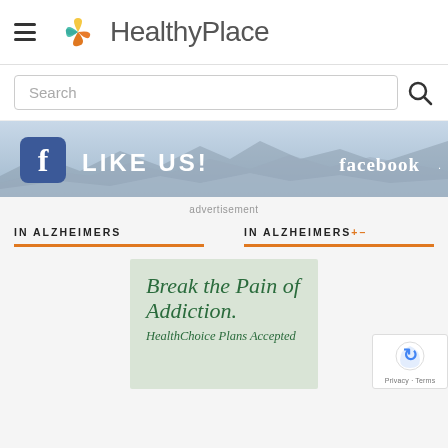[Figure (logo): HealthyPlace logo with circular icon (green, teal, orange) and site name text]
Search
[Figure (other): Facebook 'LIKE US!' banner advertisement with mountain background]
advertisement
IN ALZHEIMERS
IN ALZHEIMERS+-
[Figure (other): Advertisement card: 'Break the Pain of Addiction. HealthChoice Plans Accepted' on green background]